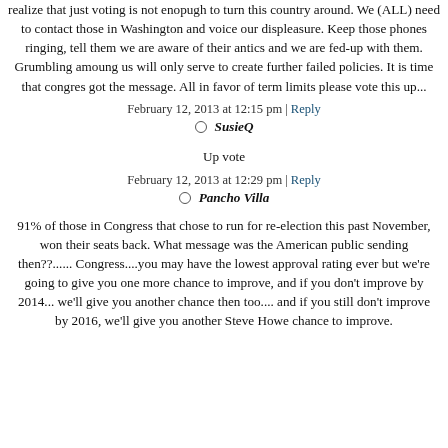realize that just voting is not enopugh to turn this country around. We (ALL) need to contact those in Washington and voice our displeasure. Keep those phones ringing, tell them we are aware of their antics and we are fed-up with them. Grumbling amoung us will only serve to create further failed policies. It is time that congres got the message. All in favor of term limits please vote this up...
February 12, 2013 at 12:15 pm | Reply
SusieQ
Up vote
February 12, 2013 at 12:29 pm | Reply
Pancho Villa
91% of those in Congress that chose to run for re-election this past November, won their seats back. What message was the American public sending then??...... Congress....you may have the lowest approval rating ever but we're going to give you one more chance to improve, and if you don't improve by 2014... we'll give you another chance then too.... and if you still don't improve by 2016, we'll give you another Steve Howe chance to improve.